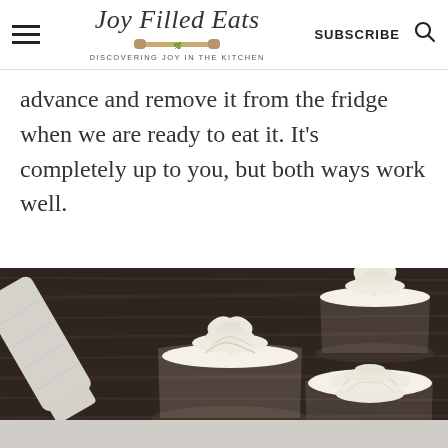Joy Filled Eats — DISCOVERING JOY IN THE KITCHEN | SUBSCRIBE
advance and remove it from the fridge when we are ready to eat it. It's completely up to you, but both ways work well.
[Figure (photo): Overhead view of glass cups filled with swirled whipped cream/mousse on a dark wooden surface, with a piping bag visible on the left side]